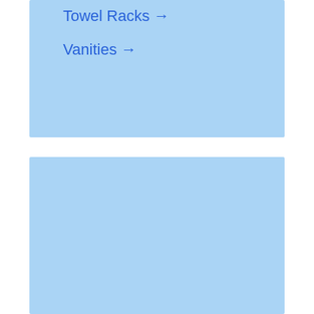Towel Racks →
Vanities →
[Figure (other): Large light blue placeholder rectangle filling the lower portion of the page]